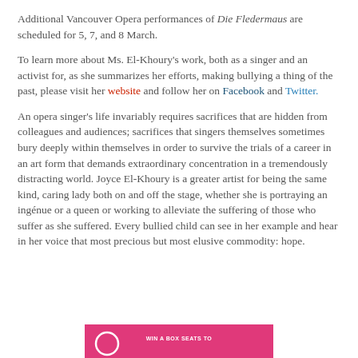Additional Vancouver Opera performances of Die Fledermaus are scheduled for 5, 7, and 8 March.
To learn more about Ms. El-Khoury's work, both as a singer and an activist for, as she summarizes her efforts, making bullying a thing of the past, please visit her website and follow her on Facebook and Twitter.
An opera singer's life invariably requires sacrifices that are hidden from colleagues and audiences; sacrifices that singers themselves sometimes bury deeply within themselves in order to survive the trials of a career in an art form that demands extraordinary concentration in a tremendously distracting world. Joyce El-Khoury is a greater artist for being the same kind, caring lady both on and off the stage, whether she is portraying an ingénue or a queen or working to alleviate the suffering of those who suffer as she suffered. Every bullied child can see in her example and hear in her voice that most precious but most elusive commodity: hope.
[Figure (other): Pink/magenta banner advertisement, partially visible at bottom of page, with text 'WIN A BOX SEATS TO' and a circular element.]